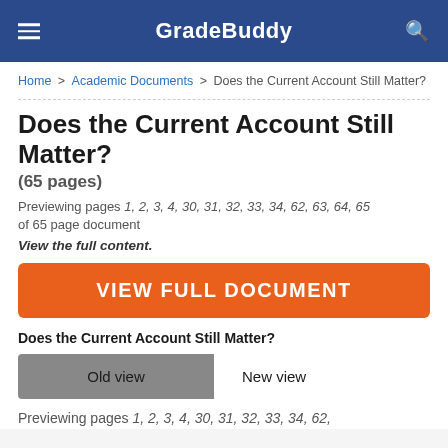GradeBuddy
Home > Academic Documents > Does the Current Account Still Matter?
Does the Current Account Still Matter?
(65 pages)
Previewing pages 1, 2, 3, 4, 30, 31, 32, 33, 34, 62, 63, 64, 65 of 65 page document
View the full content.
VIEW FULL DOCUMENT
Does the Current Account Still Matter?
Old view   New view
Previewing pages 1, 2, 3, 4, 30, 31, 32, 33, 34, 62,